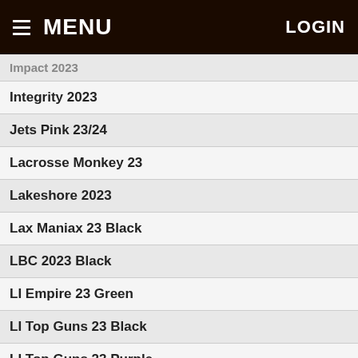MENU  LOGIN
Impact 2023
Integrity 2023
Jets Pink 23/24
Lacrosse Monkey 23
Lakeshore 2023
Lax Maniax 23 Black
LBC 2023 Black
LI Empire 23 Green
LI Top Guns 23 Black
LI Top Guns 23 Purple
Limitless Elite 23
LIYJ 23 Fernandes
LIYJ 23 Fire Island
Lotus 23/24